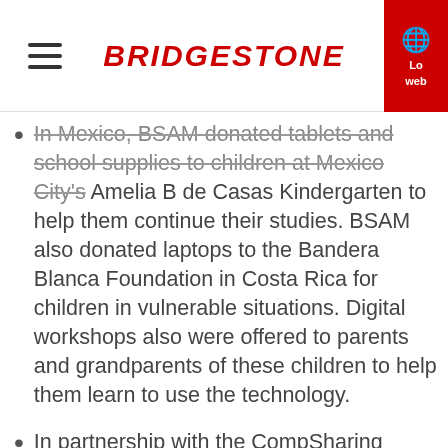BRIDGESTONE
In Mexico, BSAM donated tablets and school supplies to children at Mexico City's Amelia B de Casas Kindergarten to help them continue their studies. BSAM also donated laptops to the Bandera Blanca Foundation in Costa Rica for children in vulnerable situations. Digital workshops also were offered to parents and grandparents of these children to help them learn to use the technology.
In partnership with the CompSharing charity project, BSEMIA donated computers to the Russian Red Cross for families in need of computer access during